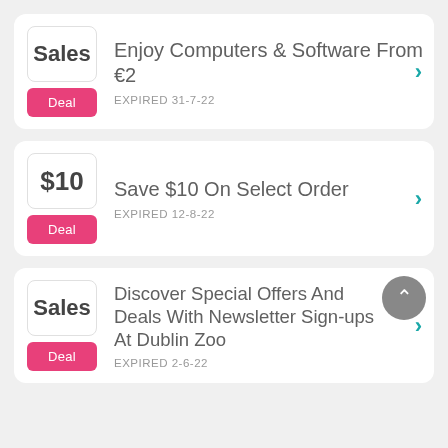Enjoy Computers & Software From €2
EXPIRED 31-7-22
Save $10 On Select Order
EXPIRED 12-8-22
Discover Special Offers And Deals With Newsletter Sign-ups At Dublin Zoo
EXPIRED 2-6-22